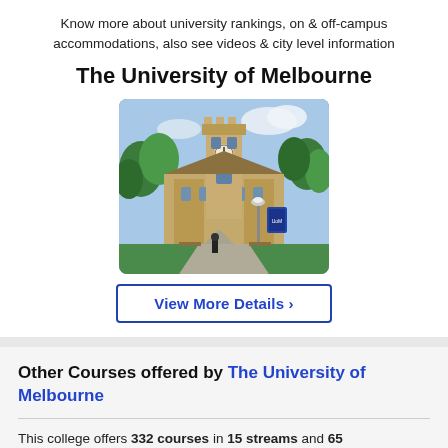Know more about university rankings, on & off-campus accommodations, also see videos & city level information
The University of Melbourne
[Figure (photo): Photograph of The University of Melbourne campus building — a historic Gothic Revival stone building with a clock tower, surrounded by green trees and a pathway with a street lamp and blue university banner.]
View More Details ›
Other Courses offered by The University of Melbourne
This college offers 332 courses in 15 streams and 65 specializations
Select the Degree you are Interested in